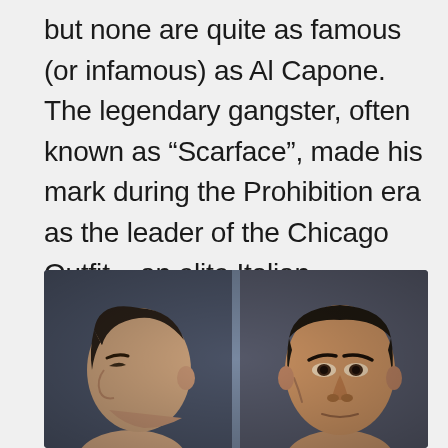but none are quite as famous (or infamous) as Al Capone. The legendary gangster, often known as “Scarface”, made his mark during the Prohibition era as the leader of the Chicago Outfit – an elite Italian-American crime syndicate. His mob was involved in bootlegging, racketeering, and even murder.
[Figure (photo): Colorized mugshot-style photograph showing two views of Al Capone: a left profile view on the left side and a front-facing view on the right side, against a dark blue-gray background.]